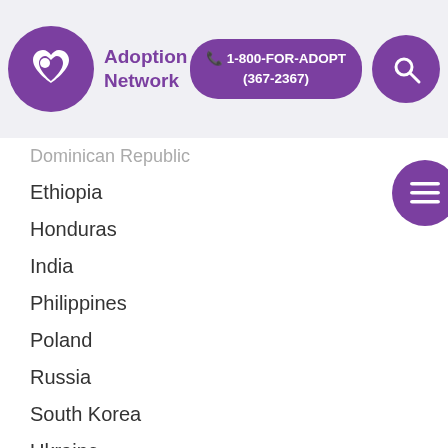Adoption Network | 1-800-FOR-ADOPT (367-2367)
Dominican Republic
Ethiopia
Honduras
India
Philippines
Poland
Russia
South Korea
Ukraine
Adoptee Resources
What does it mean to be an Adoptee?
What does it mean to be an Adult Adoptee?
Adoptee Search and Reunion